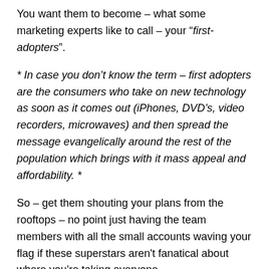You want them to become – what some marketing experts like to call – your “first-adopters”.
* In case you don’t know the term – first adopters are the consumers who take on new technology as soon as it comes out (iPhones, DVD’s, video recorders, microwaves) and then spread the message evangelically around the rest of the population which brings with it mass appeal and affordability. *
So – get them shouting your plans from the rooftops – no point just having the team members with all the small accounts waving your flag if these superstars aren't fanatical about where you’re taking everyone.